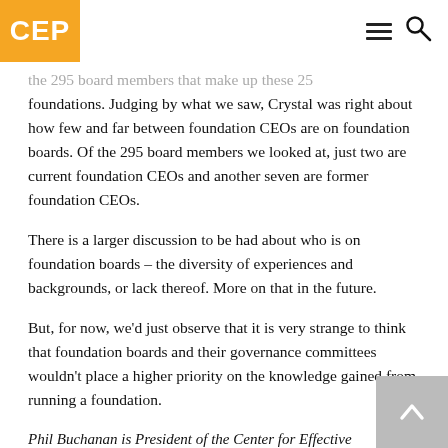CEP
the 295 board members that make up these 25 foundations. Judging by what we saw, Crystal was right about how few and far between foundation CEOs are on foundation boards. Of the 295 board members we looked at, just two are current foundation CEOs and another seven are former foundation CEOs.
There is a larger discussion to be had about who is on foundation boards – the diversity of experiences and backgrounds, or lack thereof. More on that in the future.
But, for now, we'd just observe that it is very strange to think that foundation boards and their governance committees wouldn't place a higher priority on the knowledge gained from running a foundation.
Phil Buchanan is President of the Center for Effective